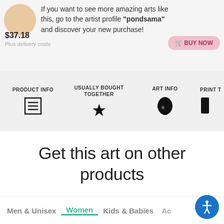If you want to see more amazing arts like this, go to the artist profile "pondsama" and discover your new purchase!
$37.18
Plus delivery costs
BUY NOW
PRODUCT INFO
USUALLY BOUGHT TOGETHER
ART INFO
PRINT T
Get this art on other products
Men & Unisex
Women
Kids & Babies
Ac